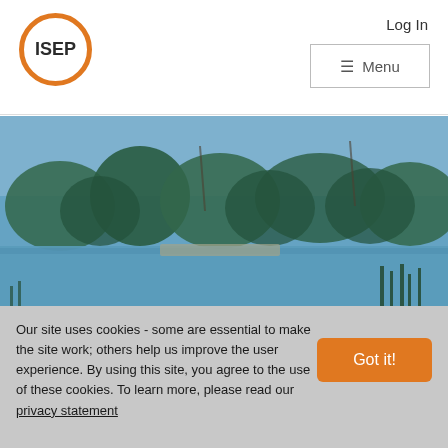[Figure (logo): ISEP logo - orange circle outline with ISEP text in dark bold letters inside]
Log In
≡ Menu
[Figure (photo): Scenic landscape photo of a lake with trees and blue sky, with a white curved cutout at the bottom, tinted blue/teal]
Our site uses cookies - some are essential to make the site work; others help us improve the user experience. By using this site, you agree to the use of these cookies. To learn more, please read our privacy statement
Got it!